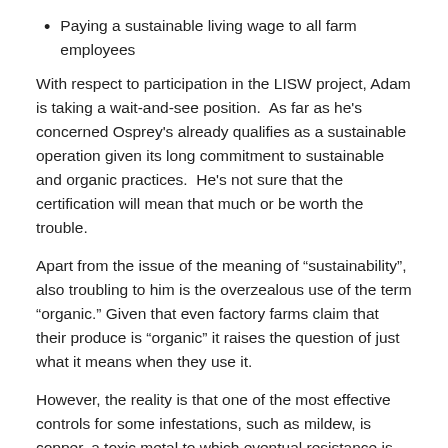Paying a sustainable living wage to all farm employees
With respect to participation in the LISW project, Adam is taking a wait-and-see position.  As far as he's concerned Osprey's already qualifies as a sustainable operation given its long commitment to sustainable and organic practices.  He's not sure that the certification will mean that much or be worth the trouble.
Apart from the issue of the meaning of “sustainability”, also troubling to him is the overzealous use of the term “organic.” Given that even factory farms claim that their produce is “organic” it raises the question of just what it means when they use it.
However, the reality is that one of the most effective controls for some infestations, such as mildew, is copper, a toxic metal to which eventual resistance is not possible.  Less toxic to the general environment is mined copper as opposed to